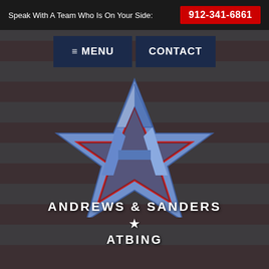Speak With A Team Who Is On Your Side: 912-341-6861
MENU
CONTACT
[Figure (logo): Andrews & Sanders law firm logo: a large blue 3D star with red inner outline and a blue letter A shape in the center, displayed over an American flag background]
ANDREWS & SANDERS
★
ATBINC